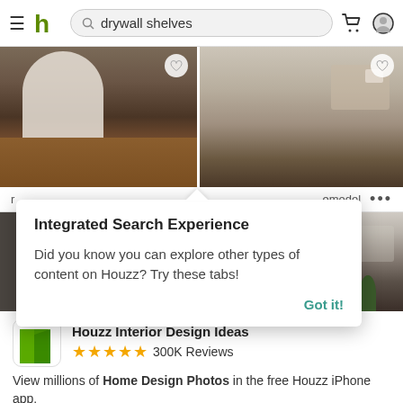[Figure (screenshot): Houzz app header with hamburger menu, green Houzz logo, search bar with 'drywall shelves', cart icon, and user profile icon]
[Figure (photo): Two interior design photos showing rooms with wood flooring and shelves]
emodel
Integrated Search Experience
Did you know you can explore other types of content on Houzz? Try these tabs!
Got it!
[Figure (photo): Interior room photo showing dark door and plant]
Houzz Interior Design Ideas
★★★★★ 300K Reviews
View millions of Home Design Photos in the free Houzz iPhone app.
Continue
Go to Mobile Site